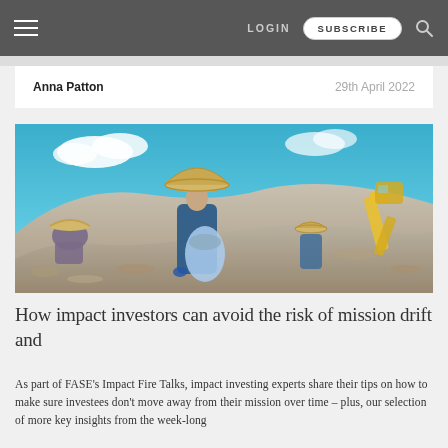LOGIN  SUBSCRIBE
Anna Patton  29th April 2022
[Figure (photo): Workers at a waste/landfill site wearing straw hats and blue clothing, sorting through debris. Blue sky with clouds in background, excavator visible on right.]
How impact investors can avoid the risk of mission drift and
As part of FASE's Impact Fire Talks, impact investing experts share their tips on how to make sure investees don't move away from their mission over time – plus, our selection of more key insights from the week-long